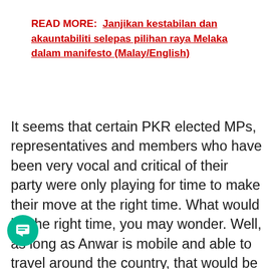READ MORE:  Janjikan kestabilan dan akauntabiliti selepas pilihan raya Melaka dalam manifesto (Malay/English)
It seems that certain PKR elected MPs, representatives and members who have been very vocal and critical of their party were only playing for time to make their move at the right time. What would be the right time, you may wonder. Well, as long as Anwar is mobile and able to travel around the country, that would be the wrong time to make a move. He would have turned the turncoats into villains and vile characters who deserve to be roundly condemned. He would have turned the tide